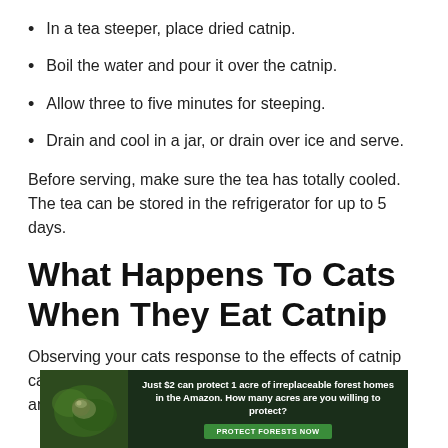In a tea steeper, place dried catnip.
Boil the water and pour it over the catnip.
Allow three to five minutes for steeping.
Drain and cool in a jar, or drain over ice and serve.
Before serving, make sure the tea has totally cooled. The tea can be stored in the refrigerator for up to 5 days.
What Happens To Cats When They Eat Catnip
Observing your cats response to the effects of catnip can be entertaining. You may notice that they stumble around, seem
[Figure (infographic): Advertisement banner with dark green background showing a sloth in foliage on the left, and text: 'Just $2 can protect 1 acre of irreplaceable forest homes in the Amazon. How many acres are you willing to protect?' with a green 'PROTECT FORESTS NOW' button.]